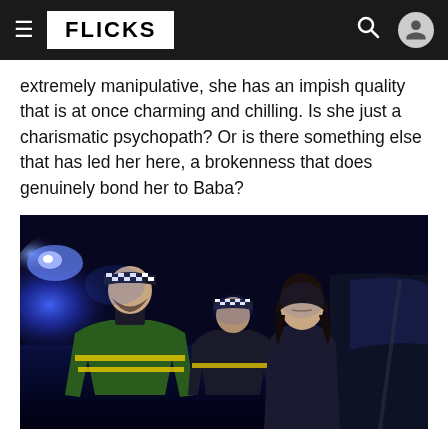FLICKS
extremely manipulative, she has an impish quality that is at once charming and chilling. Is she just a charismatic psychopath? Or is there something else that has led her here, a brokenness that does genuinely bond her to Baba?
[Figure (photo): Two police officers in high-visibility jackets and chequered police caps standing beside a car at night with blue flashing lights in the background, alongside a woman with dark hair in plain clothes looking serious.]
While We Hunt Together could be compared to a number